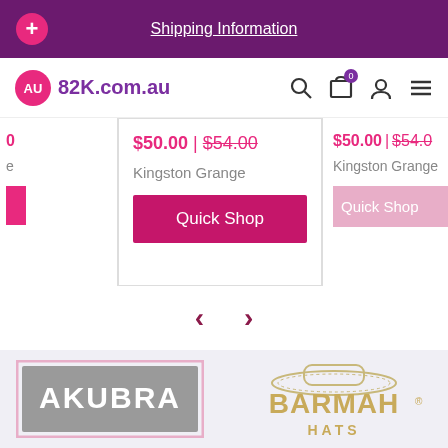Shipping Information
[Figure (logo): 82K.com.au logo with Australian map icon]
$50.00 | $54.00
Kingston Grange
Quick Shop
$50.00 | $54.00
Kingston Grange
Quick Shop
[Figure (logo): Akubra brand logo - grey rectangle with white AKUBRA text and pink border]
[Figure (logo): Barmah Hats brand logo - tan/gold text with hat illustration]